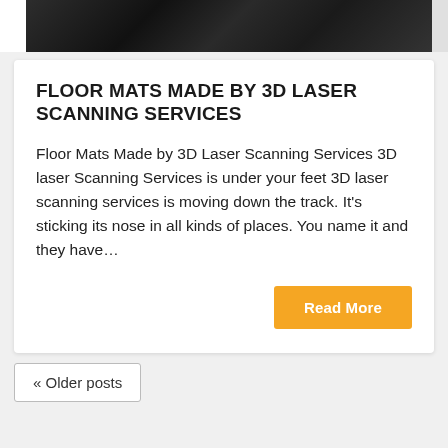[Figure (photo): Dark colored car interior or floor mat detail, cropped strip at top of page]
FLOOR MATS MADE BY 3D LASER SCANNING SERVICES
Floor Mats Made by 3D Laser Scanning Services 3D laser Scanning Services is under your feet 3D laser scanning services is moving down the track. It's sticking its nose in all kinds of places. You name it and they have…
Read More
« Older posts